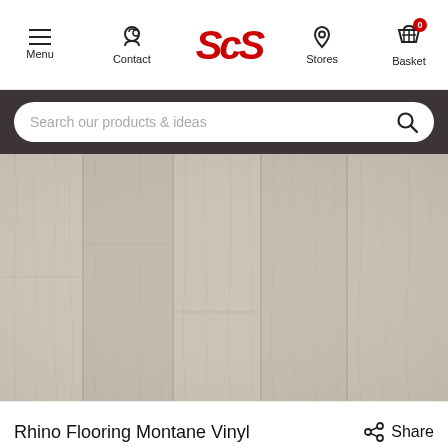ScS — Menu, Contact, Stores, Basket
Search our products & ideas
[Figure (photo): Close-up product photo of Rhino Flooring Montane Vinyl — light grey-beige wood-grain textured vinyl flooring planks]
Rhino Flooring Montane Vinyl
Share